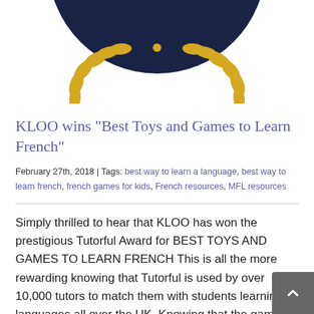[Figure (logo): Partial view of a dark navy blue circular badge/award logo with gold laurel leaves, showing the bottom portion of the circle on a white background.]
KLOO wins "Best Toys and Games to Learn French"
February 27th, 2018 | Tags: best way to learn a language, best way to learn french, french games for kids, French resources, MFL resources
Simply thrilled to hear that KLOO has won the prestigious Tutorful Award for BEST TOYS AND GAMES TO LEARN FRENCH This is all the more rewarding knowing that Tutorful is used by over 10,000 tutors to match them with students learning languages all over the UK. Knowing that the game is rated highly by tutors and students